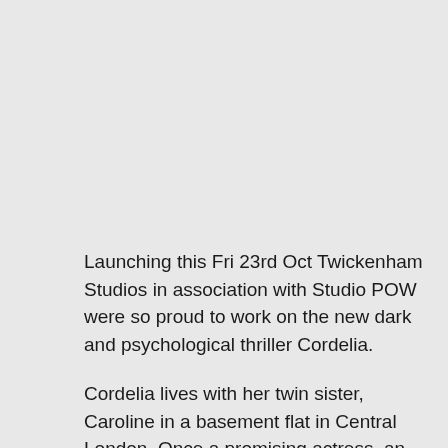Launching this Fri 23rd Oct Twickenham Studios in association with Studio POW were so proud to work on the new dark and psychological thriller Cordelia.
Cordelia lives with her twin sister, Caroline in a basement flat in Central London. Once a promising actress, an event in Cordelia's past changed her outlook and emotional state. Her gradual move towards independence is placed into jeopardy,